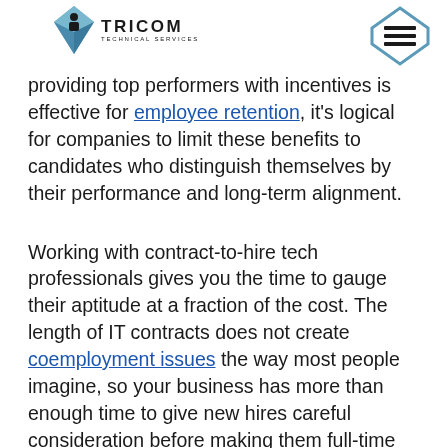TRICOM TECHNICAL SERVICES
providing top performers with incentives is effective for employee retention, it's logical for companies to limit these benefits to candidates who distinguish themselves by their performance and long-term alignment.
Working with contract-to-hire tech professionals gives you the time to gauge their aptitude at a fraction of the cost. The length of IT contracts does not create coemployment issues the way most people imagine, so your business has more than enough time to give new hires careful consideration before making them full-time employees. Outside of gauging their technical knowledge, contract-to-hire arrangements enable both you and the tech professional to decide if they're a good fit for your company's unique culture. While "culture" can often feel like an overdone buzzword, when it comes to employee turnover due to poor